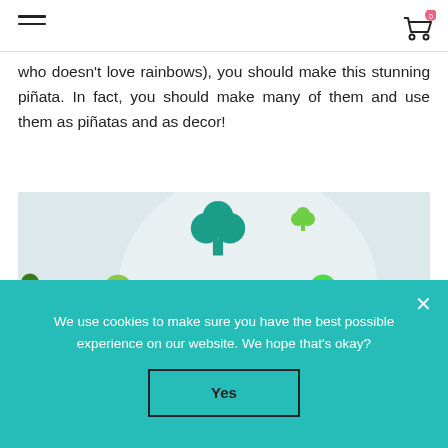[hamburger menu icon] [shopping cart icon with badge]
who doesn't love rainbows), you should make this stunning piñata. In fact, you should make many of them and use them as piñatas and as decor!
[Figure (photo): Close-up photo of shamrock/clover confetti shapes in various shades of green scattered on a light background, showing a clear round piñata or balloon.]
We use cookies to make sure you have the best possible experience on our website. We hope that's okay?
Yes